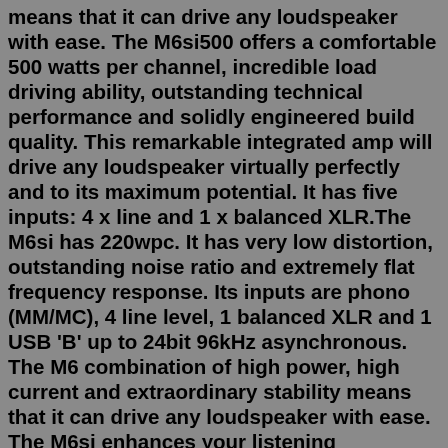means that it can drive any loudspeaker with ease. The M6si500 offers a comfortable 500 watts per channel, incredible load driving ability, outstanding technical performance and solidly engineered build quality. This remarkable integrated amp will drive any loudspeaker virtually perfectly and to its maximum potential. It has five inputs: 4 x line and 1 x balanced XLR.The M6si has 220wpc. It has very low distortion, outstanding noise ratio and extremely flat frequency response. Its inputs are phono (MM/MC), 4 line level, 1 balanced XLR and 1 USB 'B' up to 24bit 96kHz asynchronous. The M6 combination of high power, high current and extraordinary stability means that it can drive any loudspeaker with ease. The M6si enhances your listening experience by providing more inputs and completely new internal circuitry to offer greatly improved technical and sonic performance. Despite its highly affordable price tag, the M6si provides true high-end sound quality. Trade-in available. M6si by Musical Fidelity offers such excellent performance, facilities and power that